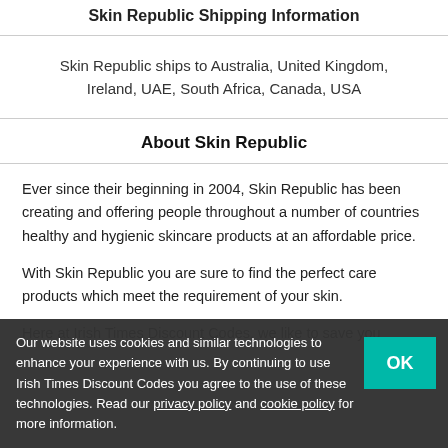Skin Republic Shipping Information
Skin Republic ships to Australia, United Kingdom, Ireland, UAE, South Africa, Canada, USA
About Skin Republic
Ever since their beginning in 2004, Skin Republic has been creating and offering people throughout a number of countries healthy and hygienic skincare products at an affordable price.

With Skin Republic you are sure to find the perfect care products which meet the requirement of your skin.

Here at Irish Times Discount Codes, we like to save you
Our website uses cookies and similar technologies to enhance your experience with us. By continuing to use Irish Times Discount Codes you agree to the use of these technologies. Read our privacy policy and cookie policy for more information.